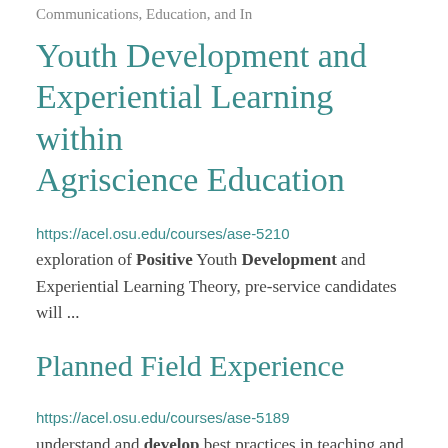Communications, Education, and In
Youth Development and Experiential Learning within Agriscience Education
https://acel.osu.edu/courses/ase-5210
exploration of Positive Youth Development and Experiential Learning Theory, pre-service candidates will ...
Planned Field Experience
https://acel.osu.edu/courses/ase-5189
understand and develop best practices in teaching and learning centered around youth development and